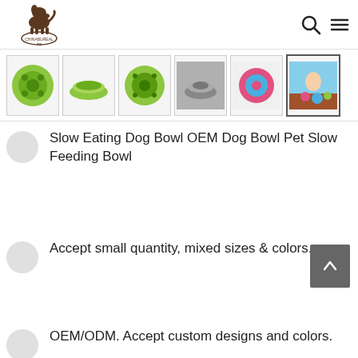[Figure (logo): Chinabureal dog brand logo — dog silhouette above a stamp-style circular badge with text]
[Figure (screenshot): Row of 6 thumbnail images of slow eating dog bowls in various colors (green, gray, pink, colorful)]
Slow Eating Dog Bowl OEM Dog Bowl Pet Slow Feeding Bowl
Accept small quantity, mixed sizes & colors.
OEM/ODM. Accept custom designs and colors.